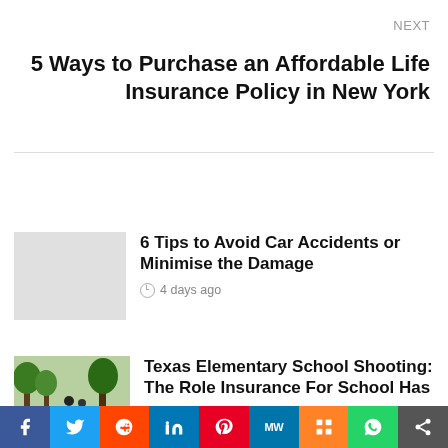NEXT
5 Ways to Purchase an Affordable Life Insurance Policy in New York
6 Tips to Avoid Car Accidents or Minimise the Damage
4 days ago
[Figure (photo): Outdoor photo with people and trees, thumbnail for Texas Elementary School Shooting article]
Texas Elementary School Shooting: The Role Insurance For School Has